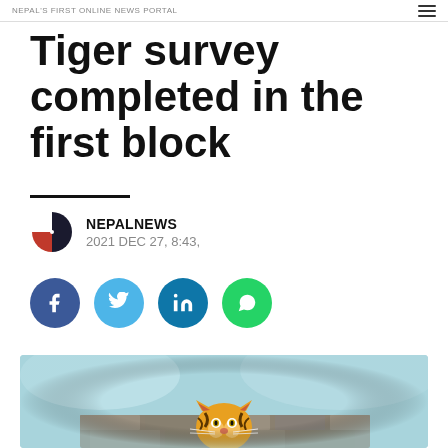NEPAL'S FIRST ONLINE NEWS PORTAL
Tiger survey completed in the first block
NEPALNEWS
2021 DEC 27, 8:43,
[Figure (other): Social media share buttons: Facebook, Twitter, LinkedIn, WhatsApp]
[Figure (photo): A tiger peering over a stone wall against a light blue background]